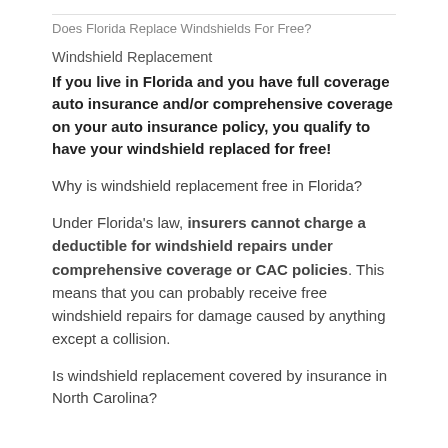Does Florida Replace Windshields For Free?
Windshield Replacement
If you live in Florida and you have full coverage auto insurance and/or comprehensive coverage on your auto insurance policy, you qualify to have your windshield replaced for free!
Why is windshield replacement free in Florida?
Under Florida's law, insurers cannot charge a deductible for windshield repairs under comprehensive coverage or CAC policies. This means that you can probably receive free windshield repairs for damage caused by anything except a collision.
Is windshield replacement covered by insurance in North Carolina?